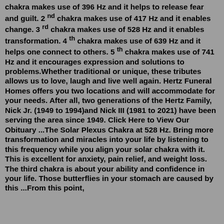chakra makes use of 396 Hz and it helps to release fear and guilt. 2 nd chakra makes use of 417 Hz and it enables change. 3 rd chakra makes use of 528 Hz and it enables transformation. 4 th chakra makes use of 639 Hz and it helps one connect to others. 5 th chakra makes use of 741 Hz and it encourages expression and solutions to problems.Whether traditional or unique, these tributes allows us to love, laugh and live well again. Hertz Funeral Homes offers you two locations and will accommodate for your needs. After all, two generations of the Hertz Family, Nick Jr. (1949 to 1994)and Nick III (1981 to 2021) have been serving the area since 1949. Click Here to View Our Obituary ...The Solar Plexus Chakra at 528 Hz. Bring more transformation and miracles into your life by listening to this frequency while you align your solar chakra with it. This is excellent for anxiety, pain relief, and weight loss. The third chakra is about your ability and confidence in your life. Those butterflies in your stomach are caused by this ...From this point,